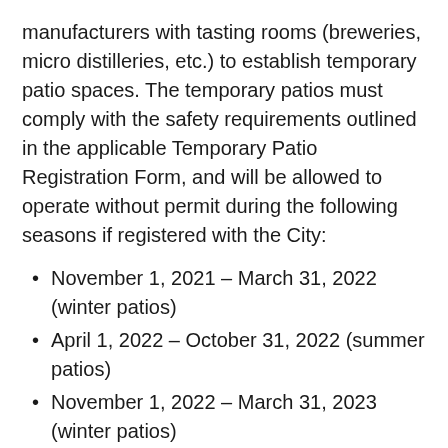manufacturers with tasting rooms (breweries, micro distilleries, etc.) to establish temporary patio spaces. The temporary patios must comply with the safety requirements outlined in the applicable Temporary Patio Registration Form, and will be allowed to operate without permit during the following seasons if registered with the City:
November 1, 2021 – March 31, 2022 (winter patios)
April 1, 2022 – October 31, 2022 (summer patios)
November 1, 2022 – March 31, 2023 (winter patios)
Please Note: Seasonal temporary patio approvals do not transfer to the next season and expire when the season ends. Businesses will need to review the requirements for the next temporary patio season and submit a new registration to participate.